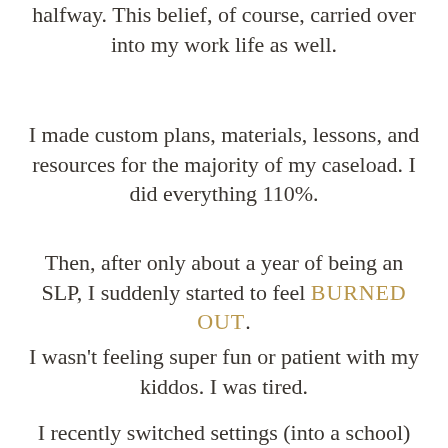halfway. This belief, of course, carried over into my work life as well.
I made custom plans, materials, lessons, and resources for the majority of my caseload. I did everything 110%.
Then, after only about a year of being an SLP, I suddenly started to feel BURNED OUT.
I wasn't feeling super fun or patient with my kiddos. I was tired.
I recently switched settings (into a school) and am starting fresh this new year. I am going to